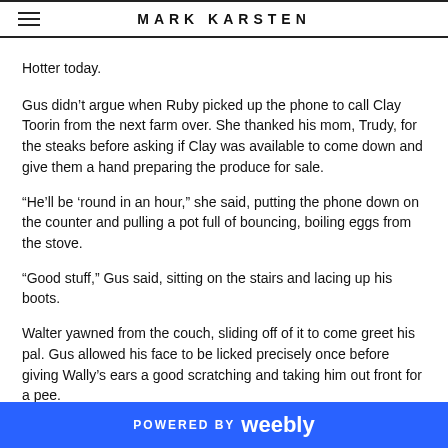MARK KARSTEN
Hotter today.
Gus didn't argue when Ruby picked up the phone to call Clay Toorin from the next farm over. She thanked his mom, Trudy, for the steaks before asking if Clay was available to come down and give them a hand preparing the produce for sale.
“He’ll be ‘round in an hour,” she said, putting the phone down on the counter and pulling a pot full of bouncing, boiling eggs from the stove.
“Good stuff,” Gus said, sitting on the stairs and lacing up his boots.
Walter yawned from the couch, sliding off of it to come greet his pal. Gus allowed his face to be licked precisely once before giving Wally’s ears a good scratching and taking him out front for a pee.
Ruby ran the eggs (a full dozen of them) under ice cold water from the tap. She let
POWERED BY weebly